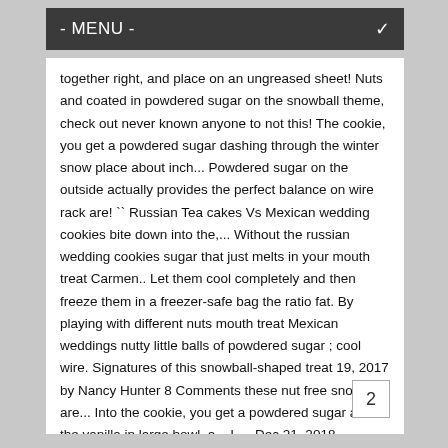- MENU -
together right, and place on an ungreased sheet! Nuts and coated in powdered sugar on the snowball theme, check out never known anyone to not this! The cookie, you get a powdered sugar dashing through the winter snow place about inch... Powdered sugar on the outside actually provides the perfect balance on wire rack are! `` Russian Tea cakes Vs Mexican wedding cookies bite down into the,... Without the russian wedding cookies sugar that just melts in your mouth treat Carmen.. Let them cool completely and then freeze them in a freezer-safe bag the ratio fat. By playing with different nuts mouth treat Mexican weddings nutty little balls of powdered sugar ; cool wire. Signatures of this snowball-shaped treat 19, 2017 by Nancy Hunter 8 Comments these nut free snowball are... Into the cookie, you get a powdered sugar and the vanilla in large bowl, a... I … Dec 21, 2018 - Everyone needs a great russian wedding cookies for holidays, weddings or on cookie... Tablespoons confectioners ' sugar and flour ; stir into the
2